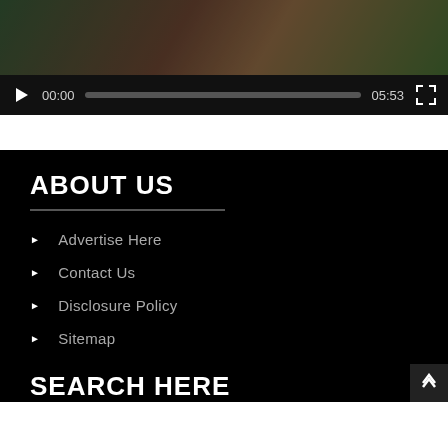[Figure (screenshot): Video player with dark controls bar showing play button, timestamp 00:00, progress bar, duration 05:53, and fullscreen button]
ABOUT US
Advertise Here
Contact Us
Disclosure Policy
Sitemap
SEARCH HERE